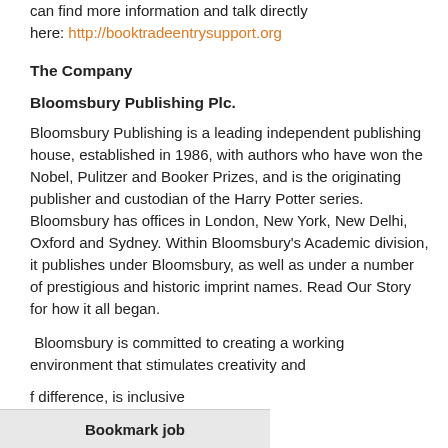can find more information and talk directly here: http://booktradeentrysupport.org
The Company
Bloomsbury Publishing Plc.
Bloomsbury Publishing is a leading independent publishing house, established in 1986, with authors who have won the Nobel, Pulitzer and Booker Prizes, and is the originating publisher and custodian of the Harry Potter series. Bloomsbury has offices in London, New York, New Delhi, Oxford and Sydney. Within Bloomsbury's Academic division, it publishes under Bloomsbury, as well as under a number of prestigious and historic imprint names. Read Our Story for how it all began.
Bloomsbury is committed to creating a working environment that stimulates creativity and difference, is inclusive and promotes well-being. We
Bookmark job